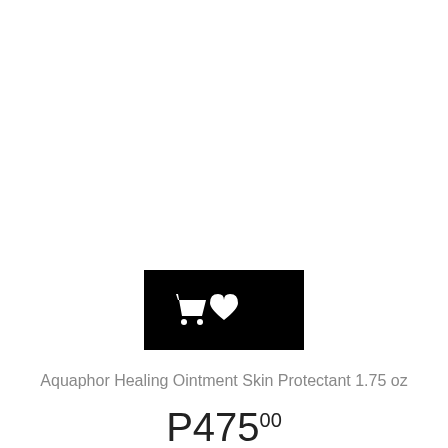[Figure (screenshot): Black rectangular button bar with two white icons: a shopping cart icon on the left and a heart/favorite icon on the right]
Aquaphor Healing Ointment Skin Protectant 1.75 oz
P475.00